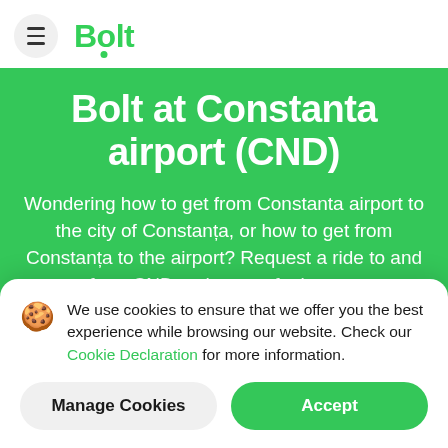Bolt
Bolt at Constanta airport (CND)
Wondering how to get from Constanta airport to the city of Constanța, or how to get from Constanța to the airport? Request a ride to and from CND at the tap of a button.
We use cookies to ensure that we offer you the best experience while browsing our website. Check our Cookie Declaration for more information.